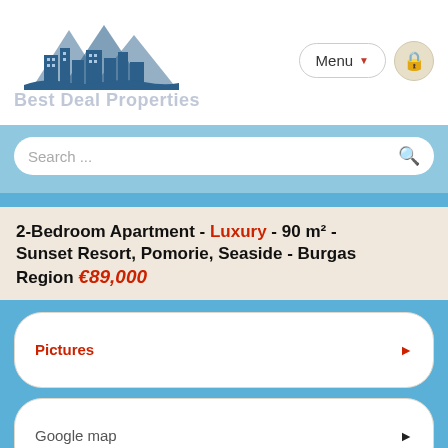[Figure (logo): Best Deal Properties logo with mountain/city skyline silhouette in dark blue]
Best Deal Properties
Menu
Search ...
2-Bedroom Apartment - Luxury - 90 m² - Sunset Resort, Pomorie, Seaside - Burgas Region €89,000
Pictures
Google map
Street view